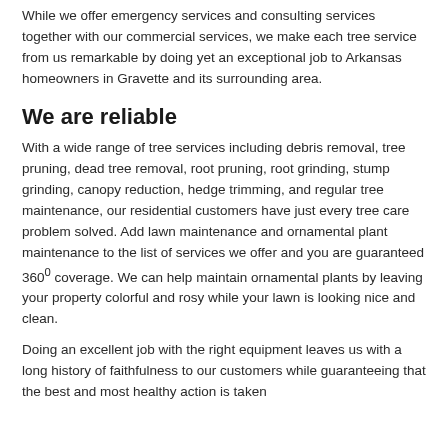While we offer emergency services and consulting services together with our commercial services, we make each tree service from us remarkable by doing yet an exceptional job to Arkansas homeowners in Gravette and its surrounding area.
We are reliable
With a wide range of tree services including debris removal, tree pruning, dead tree removal, root pruning, root grinding, stump grinding, canopy reduction, hedge trimming, and regular tree maintenance, our residential customers have just every tree care problem solved. Add lawn maintenance and ornamental plant maintenance to the list of services we offer and you are guaranteed 360° coverage. We can help maintain ornamental plants by leaving your property colorful and rosy while your lawn is looking nice and clean.
Doing an excellent job with the right equipment leaves us with a long history of faithfulness to our customers while guaranteeing that the best and most healthy action is taken